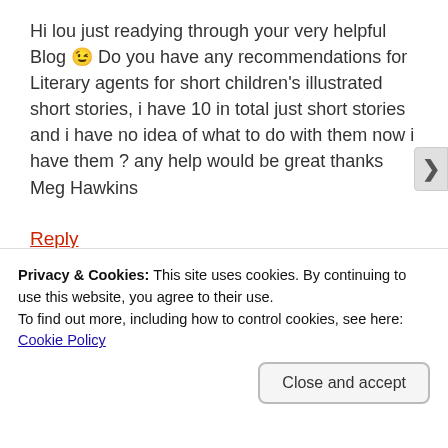Hi lou just readying through your very helpful Blog 😉 Do you have any recommendations for Literary agents for short children's illustrated short stories, i have 10 in total just short stories and i have no idea of what to do with them now i have them ? any help would be great thanks Meg Hawkins
Reply
Nina
AUGUST 14, 2014 AT 11:16 PM
Privacy & Cookies: This site uses cookies. By continuing to use this website, you agree to their use.
To find out more, including how to control cookies, see here: Cookie Policy
Close and accept